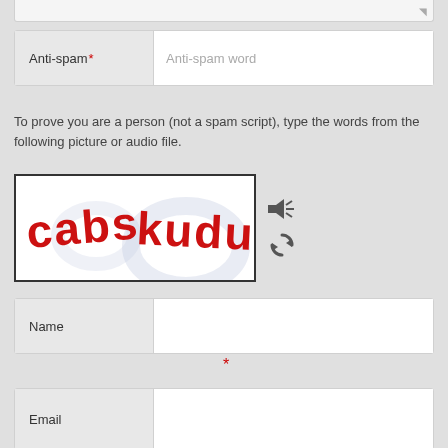[Figure (screenshot): Textarea with resize handle at top of page (partially visible)]
[Figure (screenshot): Anti-spam form field with label 'Anti-spam*' and placeholder 'Anti-spam word']
To prove you are a person (not a spam script), type the words from the following picture or audio file.
[Figure (other): CAPTCHA image showing handwritten red text 'cabs kudu' with faint background watermark, plus speaker/audio icon and refresh icon to the right]
[Figure (screenshot): Name form field with label 'Name' and a required asterisk (*) below]
[Figure (screenshot): Email form field with label 'Email' (partially visible at bottom)]